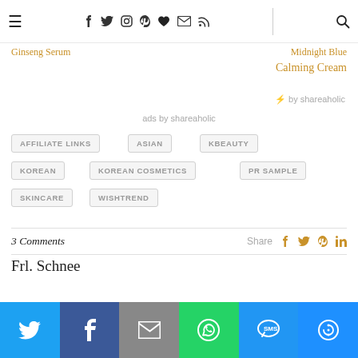≡  f  𝕏  📷  p  ♥  ✉  )))  |  🔍
Ginseng Serum    Midnight Blue Calming Cream
⚡ by shareaholic
ads by shareaholic
AFFILIATE LINKS
ASIAN
KBEAUTY
KOREAN
KOREAN COSMETICS
PR SAMPLE
SKINCARE
WISHTREND
3 Comments   Share
Frl. Schnee